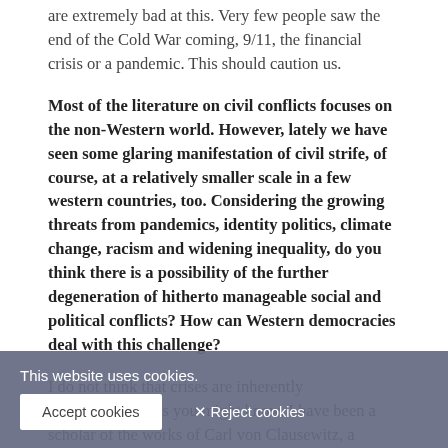are extremely bad at this. Very few people saw the end of the Cold War coming, 9/11, the financial crisis or a pandemic. This should caution us.
Most of the literature on civil conflicts focuses on the non-Western world. However, lately we have seen some glaring manifestation of civil strife, of course, at a relatively smaller scale in a few western countries, too. Considering the growing threats from pandemics, identity politics, climate change, racism and widening inequality, do you think there is a possibility of the further degeneration of hitherto manageable social and political conflicts? How can Western democracies deal with this challenge?
I do not think that crises are inherently unmanageable. As you might know, I have been a scholar of the works of Carl von Clausewitz, a Prussian military thinker and founding father of the scientific study of military theory. He offers us two key insights about conflict: political will and...
This website uses cookies.